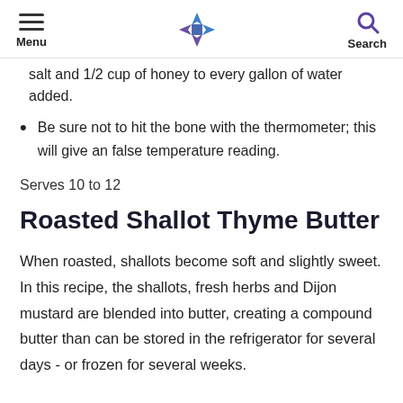Menu | [logo] | Search
salt and 1/2 cup of honey to every gallon of water added.
Be sure not to hit the bone with the thermometer; this will give an false temperature reading.
Serves 10 to 12
Roasted Shallot Thyme Butter
When roasted, shallots become soft and slightly sweet. In this recipe, the shallots, fresh herbs and Dijon mustard are blended into butter, creating a compound butter than can be stored in the refrigerator for several days - or frozen for several weeks.